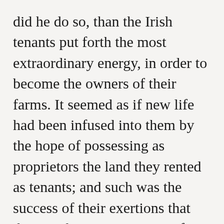did he do so, than the Irish tenants put forth the most extraordinary energy, in order to become the owners of their farms. It seemed as if new life had been infused into them by the hope of possessing as proprietors the land they rented as tenants; and such was the success of their exertions that they, or the great majority of them, were enabled to purchase their lots.